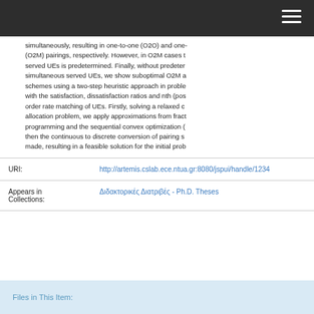simultaneously, resulting in one-to-one (O2O) and one- (O2M) pairings, respectively. However, in O2M cases t served UEs is predetermined. Finally, without predeter simultaneous served UEs, we show suboptimal O2M a schemes using a two-step heuristic approach in proble with the satisfaction, dissatisfaction ratios and nth (pos order rate matching of UEs. Firstly, solving a relaxed c allocation problem, we apply approximations from fract programming and the sequential convex optimization ( then the continuous to discrete conversion of pairing s made, resulting in a feasible solution for the initial prob
| Label | Value |
| --- | --- |
| URI: | http://artemis.cslab.ece.ntua.gr:8080/jspui/handle/1234 |
| Appears in Collections: | Διδακτορικές Διατριβές - Ph.D. Theses |
Files in This Item: